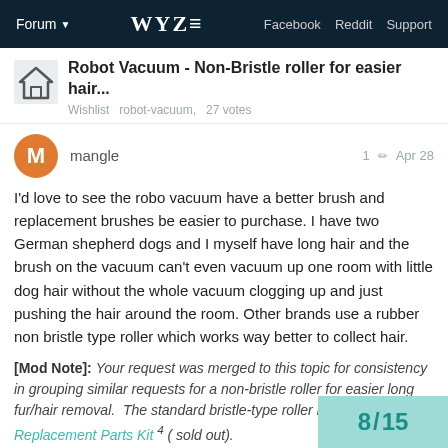Forum  WYZE  Facebook  Reddit  Support
Robot Vacuum - Non-Bristle roller for easier hair...
Wishlist  robot-vacuum,  27 votes
mangle    1   Apr 28
I'd love to see the robo vacuum have a better brush and replacement brushes be easier to purchase. I have two German shepherd dogs and I myself have long hair and the brush on the vacuum can't even vacuum up one room with little dog hair without the whole vacuum clogging up and just pushing the hair around the room. Other brands use a rubber non bristle type roller which works way better to collect hair.
[Mod Note]: Your request was merged to this topic for consistency in grouping similar requests for a non-bristle roller for easier long fur/hair removal.  The standard bristle-type roller is included in a Replacement Parts Kit 4 ( sold out).